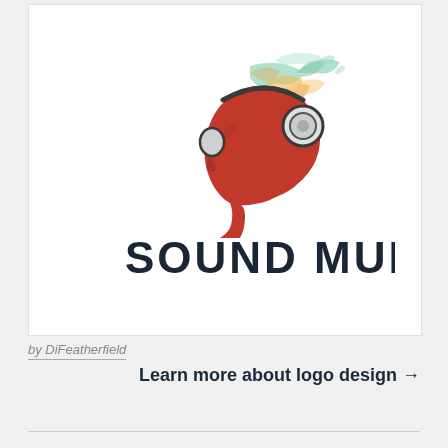[Figure (logo): Sound Mural logo: a red silhouette of a human head in profile facing left, wearing headphones, with colorful abstract brushstroke splashes in orange, yellow, and teal emanating from the back of the head. Below the illustration, the text 'SOUND MURAL' in bold dark navy block letters.]
by DiFeatherfield
Learn more about logo design →